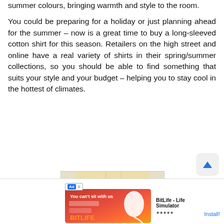summer colours, bringing warmth and style to the room.
You could be preparing for a holiday or just planning ahead for the summer – now is a great time to buy a long-sleeved cotton shirt for this season. Retailers on the high street and online have a real variety of shirts in their spring/summer collections, so you should be able to find something that suits your style and your budget – helping you to stay cool in the hottest of climates.
[Figure (photo): Partial photo of a person in light yellow/cream shorts with a bracelet on their wrist, cropped at bottom of page]
[Figure (screenshot): Mobile advertisement banner for BitLife – Life Simulator game, showing red and orange game artwork with a sperm graphic, BitLife logo and Install button]